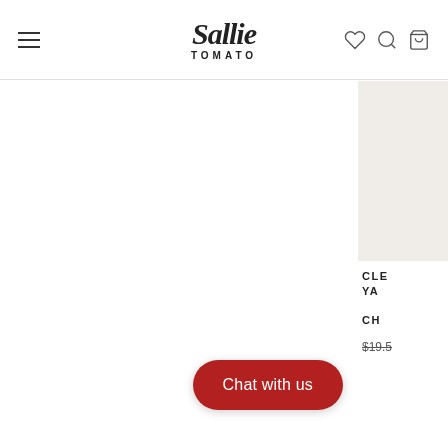Sallie Tomato - navigation header with hamburger menu, logo, heart, search, and cart icons
[Figure (photo): Product image in beige/cream color - partially visible on right edge]
CLE YA
CH
$19.5
Chat with us